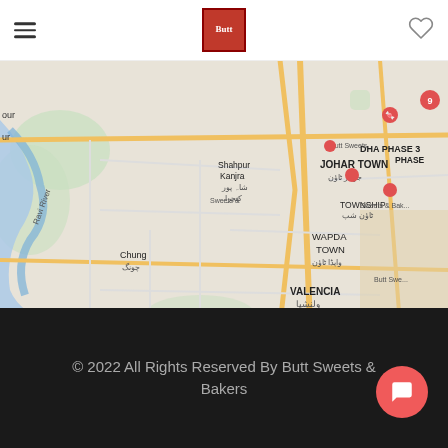Butt Sweets & Bakers — navigation header with hamburger menu and heart icon
[Figure (map): Google Maps view of Lahore, Pakistan showing areas including Johar Town, DHA Phase 3, Township, Wapda Town, Valencia, Chung, Shahpur Kanjra, and Ravi River. Several red Butt Sweets & Bakers location pins are visible on the map.]
© 2022 All Rights Reserved By Butt Sweets & Bakers